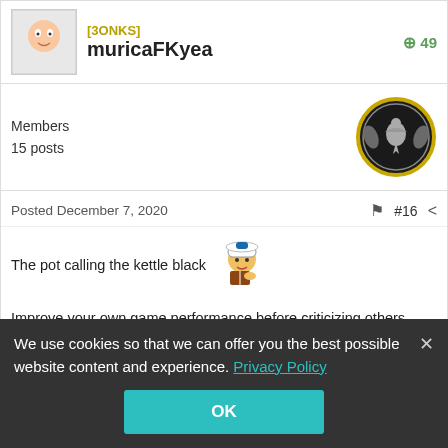[3ONKS] muricaFKyea +49
Members
15 posts
Posted December 7, 2020  #16
The pot calling the kettle black
Improve your own game performance before criticizing others, thank you.
We use cookies so that we can offer you the best possible website content and experience. Privacy Policy
OK